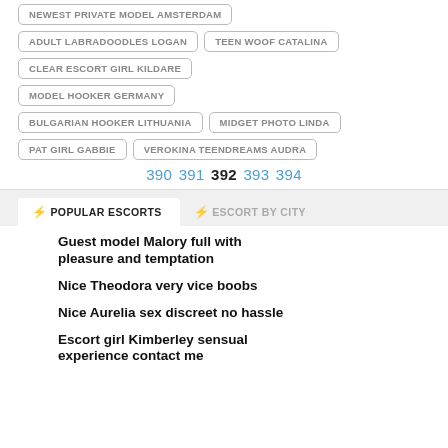NEWEST PRIVATE MODEL AMSTERDAM
ADULT LABRADOODLES LOGAN
TEEN WOOF CATALINA
CLEAR ESCORT GIRL KILDARE
MODEL HOOKER GERMANY
BULGARIAN HOOKER LITHUANIA
MIDGET PHOTO LINDA
PAT GIRL GABBIE
VEROKINA TEENDREAMS AUDRA
390 391 392 393 394
POPULAR ESCORTS
ESCORT BY CITY
Guest model Malory full with pleasure and temptation
Nice Theodora very vice boobs
Nice Aurelia sex discreet no hassle
Escort girl Kimberley sensual experience contact me